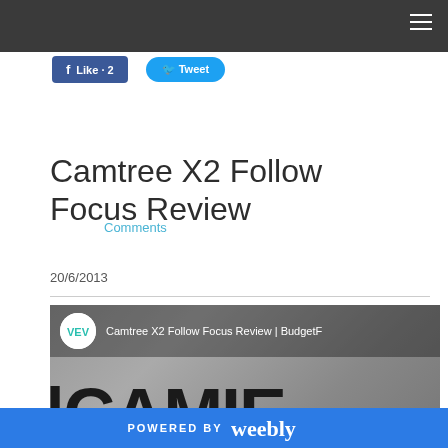Navigation bar with hamburger menu
[Figure (screenshot): Facebook Like button showing 'Like 2' and Twitter Tweet button]
Comments
Camtree X2 Follow Focus Review
20/6/2013
Comments
[Figure (screenshot): Video thumbnail for Camtree X2 Follow Focus Review showing VEV logo, video title, and large CAMTREE text]
POWERED BY weebly